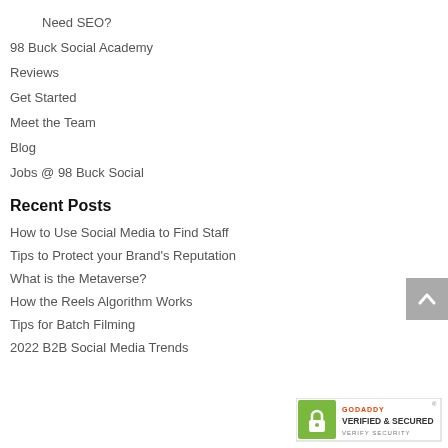Need SEO?
98 Buck Social Academy
Reviews
Get Started
Meet the Team
Blog
Jobs @ 98 Buck Social
Recent Posts
How to Use Social Media to Find Staff
Tips to Protect your Brand's Reputation
What is the Metaverse?
How the Reels Algorithm Works
Tips for Batch Filming
2022 B2B Social Media Trends
[Figure (logo): GoDaddy Verified & Secured badge with lock icon and green background]